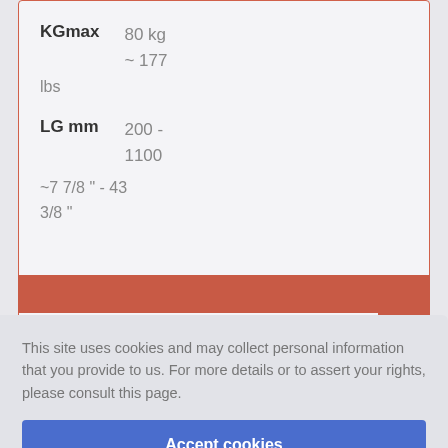KGmax  80 kg ~ 177 lbs
LG mm  200 - 1100  ~7 7/8 " - 43 3/8 "
This site uses cookies and may collect personal information that you provide to us. For more details or to assert your rights, please consult this page.
Accept cookies